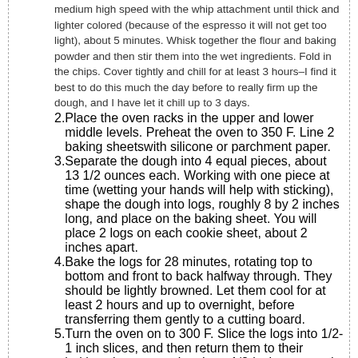medium high speed with the whip attachment until thick and lighter colored (because of the espresso it will not get too light), about 5 minutes. Whisk together the flour and baking powder and then stir them into the wet ingredients. Fold in the chips. Cover tightly and chill for at least 3 hours–I find it best to do this much the day before to really firm up the dough, and I have let it chill up to 3 days.
Place the oven racks in the upper and lower middle levels. Preheat the oven to 350 F. Line 2 baking sheetswith silicone or parchment paper.
Separate the dough into 4 equal pieces, about 13 1/2 ounces each. Working with one piece at time (wetting your hands will help with sticking), shape the dough into logs, roughly 8 by 2 inches long, and place on the baking sheet. You will place 2 logs on each cookie sheet, about 2 inches apart.
Bake the logs for 28 minutes, rotating top to bottom and front to back halfway through. They should be lightly browned. Let them cool for at least 2 hours and up to overnight, before transferring them gently to a cutting board.
Turn the oven on to 300 F. Slice the logs into 1/2-1 inch slices, and then return them to their baking sheets, spacing them 1/2-inch apart and standing them upright (you want them to toast). Return them to the oven, and bake another 25 minutes, once again rotating front to back and top to bottom halfway through. They will become quite golden brown because of the espresso. Cool on the baking sheets–they will crisp up as they cool, but will never be really hard like a fat-free biscotti, but rather more crumbly,